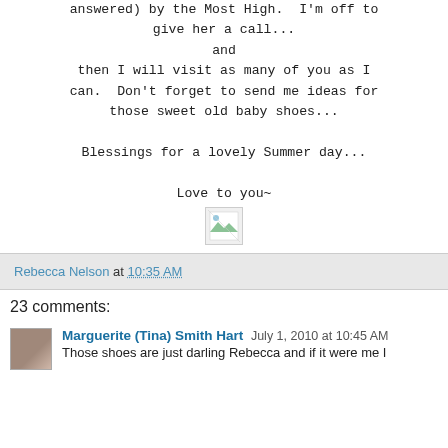answered) by the Most High.  I'm off to give her a call...
and
then I will visit as many of you as I can.  Don't forget to send me ideas for those sweet old baby shoes...

Blessings for a lovely Summer day...

Love to you~
[Figure (other): Broken/missing image placeholder icon]
Rebecca Nelson at 10:35 AM
23 comments:
Marguerite (Tina) Smith Hart July 1, 2010 at 10:45 AM
Those shoes are just darling Rebecca and if it were me I